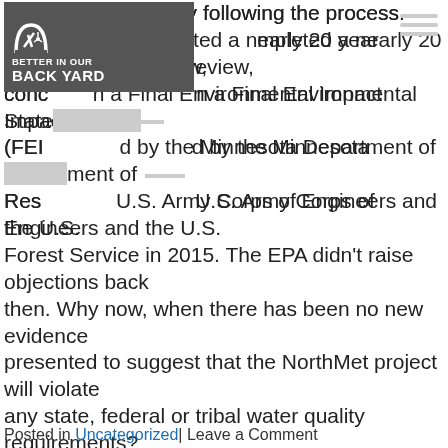[Figure (logo): Better in Our Back Yard logo with gear/arch icon on dark gray background, with hamburger menu lines]
PolyMet's permits by following the process. The company completed a nearly 20 year environmental review, concluding in a Final Environmental Impact Statement (FEIS) issued by the Minnesota Department of Natural Resources, U.S. Army Corps of Engineers and the U.S. Forest Service in 2015. The EPA didn't raise objections back then. Why now, when there has been no new evidence presented to suggest that the NorthMet project will violate any state, federal or tribal water quality requirements? Better in Our Back Yard trusts the scientific review the agencies used for the FEIS. We also trust that PolyMet's water treatment plan will address legacy mining issues and reduce both sulfate and mercury in the St. Louis River. This project will mean cleaner water and a step toward accessing the minerals we need for clean energy infrastructure in a region that has been left behind economically. The benefits keep stacking up, but we'll only see them if we follow the process and allow the project to move forward.
Posted in Uncategorized| Leave a Comment